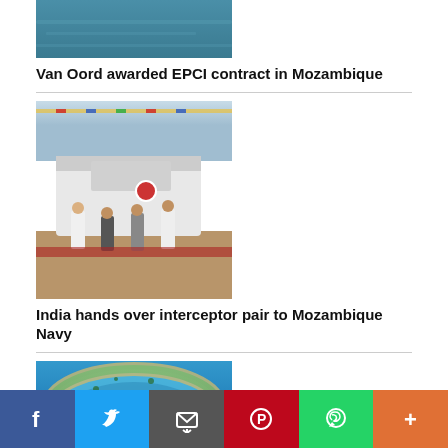[Figure (photo): Partial view of ocean/water surface, top of page]
Van Oord awarded EPCI contract in Mozambique
[Figure (photo): Naval ceremony with officers and a ship decorated with flags at a dock]
India hands over interceptor pair to Mozambique Navy
[Figure (photo): Aerial view of a coral atoll or island in blue ocean water]